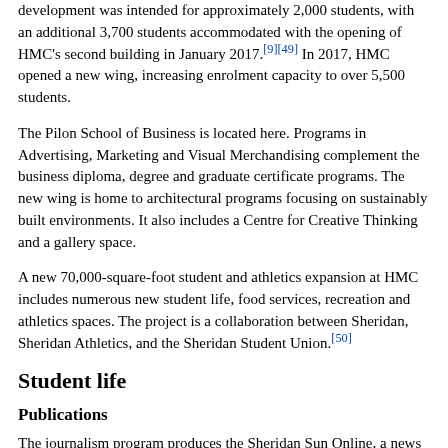development was intended for approximately 2,000 students, with an additional 3,700 students accommodated with the opening of HMC's second building in January 2017.[9][49] In 2017, HMC opened a new wing, increasing enrolment capacity to over 5,500 students.
The Pilon School of Business is located here. Programs in Advertising, Marketing and Visual Merchandising complement the business diploma, degree and graduate certificate programs. The new wing is home to architectural programs focusing on sustainably built environments. It also includes a Centre for Creative Thinking and a gallery space.
A new 70,000-square-foot student and athletics expansion at HMC includes numerous new student life, food services, recreation and athletics spaces. The project is a collaboration between Sheridan, Sheridan Athletics, and the Sheridan Student Union.[50]
Student life
Publications
The journalism program produces the Sheridan Sun Online, a news and information site maintained by Sheridan's journalism students.